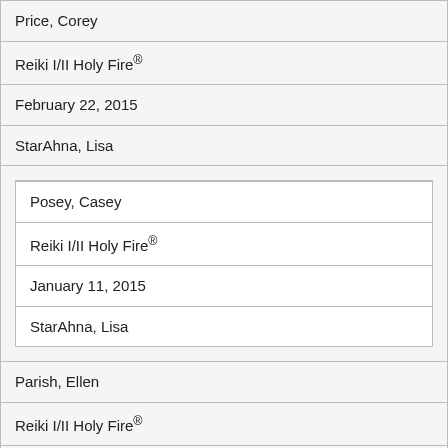| Price, Corey |
| Reiki I/II Holy Fire® |
| February 22, 2015 |
| StarAhna, Lisa |
| [nested: Posey, Casey | Reiki I/II Holy Fire® | January 11, 2015 | StarAhna, Lisa] |
| Parish, Ellen |
| Reiki I/II Holy Fire® |
| May 20, 2015 |